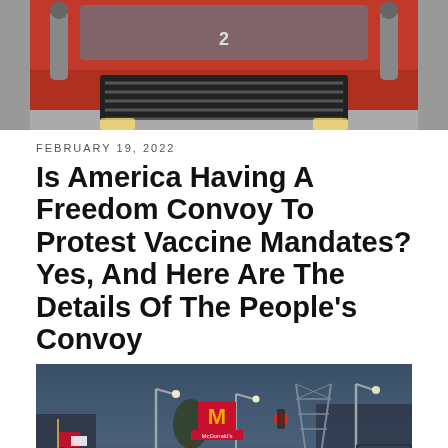[Figure (photo): Close-up photograph of the front grille and hood of a large red semi-truck]
FEBRUARY 19, 2022
Is America Having A Freedom Convoy To Protest Vaccine Mandates? Yes, And Here Are The Details Of The People's Convoy
[Figure (photo): Street scene at dusk showing a convoy of vehicles with Canadian flags, a McDonald's sign, a bridge structure, street lights, and traffic lights glowing red]